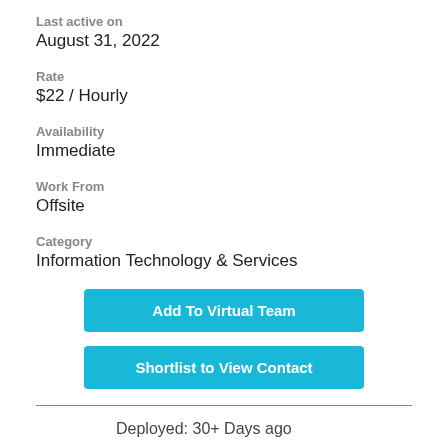Last active on
August 31, 2022
Rate
$22 / Hourly
Availability
Immediate
Work From
Offsite
Category
Information Technology & Services
Add To Virtual Team
Shortlist to View Contact
Deployed: 30+ Days ago
Shortlisted: 5